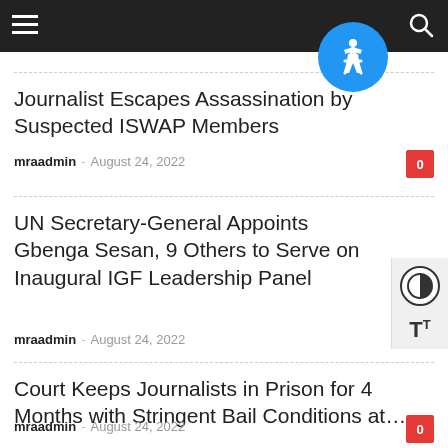Navigation bar with hamburger menu and search icon
Journalist Escapes Assassination by Suspected ISWAP Members
mraadmin - August 24, 2022
UN Secretary-General Appoints Gbenga Sesan, 9 Others to Serve on Inaugural IGF Leadership Panel
mraadmin - August 24, 2022
Court Keeps Journalists in Prison for 4 Months with Stringent Bail Conditions at…
mraadmin - August 24, 2022